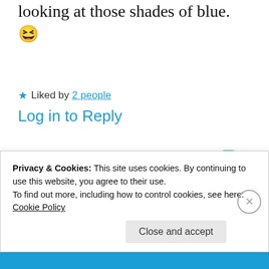looking at those shades of blue. 😆
★ Liked by 2 people
Log in to Reply
[Figure (infographic): Advertisement banner showing 'lovers.' in bold black text, 'Download now' in red, and a product image of a '99% Invisible' dark card/book with yellow grid pattern alongside green and other colored cards.]
Privacy & Cookies: This site uses cookies. By continuing to use this website, you agree to their use.
To find out more, including how to control cookies, see here: Cookie Policy
Close and accept